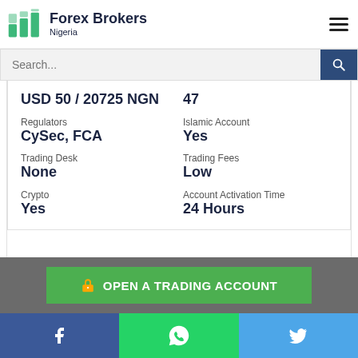Forex Brokers Nigeria
| USD 50 / 20725 NGN | 47 |
| Regulators | Islamic Account |
| CySec, FCA | Yes |
| Trading Desk | Trading Fees |
| None | Low |
| Crypto | Account Activation Time |
| Yes | 24 Hours |
OPEN A TRADING ACCOUNT
[Figure (logo): Facebook, WhatsApp, and Twitter social media icons in a footer bar]